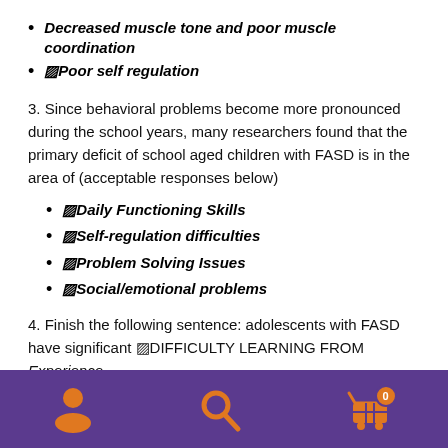Decreased muscle tone and poor muscle coordination
■Poor self regulation
3. Since behavioral problems become more pronounced during the school years, many researchers found that the primary deficit of school aged children with FASD is in the area of (acceptable responses below)
■Daily Functioning Skills
■Self-regulation difficulties
■Problem Solving Issues
■Social/emotional problems
4. Finish the following sentence: adolescents with FASD have significant ■DIFFICULTY LEARNING FROM Experience